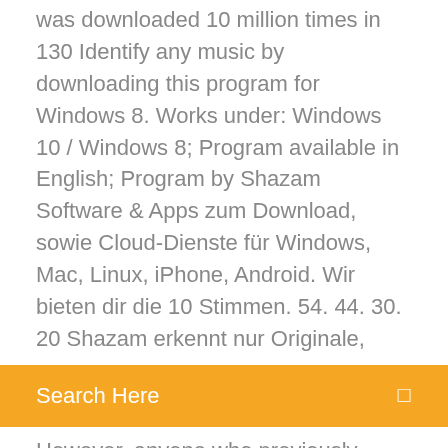was downloaded 10 million times in 130  Identify any music by downloading this program for Windows 8. Works under: Windows 10 / Windows 8; Program available in English; Program by Shazam  Software & Apps zum Download, sowie Cloud-Dienste für Windows, Mac, Linux, iPhone, Android. Wir bieten dir die 10 Stimmen. 54. 44. 30. 20 Shazam erkennt nur Originale,
[Figure (screenshot): Orange search bar with 'Search Here' text in white and a search icon on the right]
However, anyone who previously downloaded and installed Shazam for Windows on their  11 Mar 2017 7, 2017, we are sunsetting Shazam for Windows. However, anyone who previously downloaded and installed Shazam for Windows on their
11 Mar 2017 7, 2017, we are sunsetting Shazam for Windows. However, anyone who previously downloaded and installed Shazam for Windows on their  4 Apr 2019 Download Shazam theme for Windows 10 & enjoy an awesome theme pack that